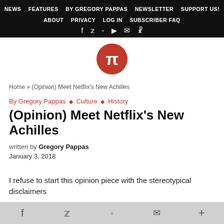NEWS  FEATURES  BY GREGORY PAPPAS  NEWSLETTER  SUPPORT US!  ABOUT  PRIVACY  LOG IN  SUBSCRIBER FAQ
[Figure (logo): Red circular logo with white pi symbol]
Home » (Opinion) Meet Netflix's New Achilles
By Gregory Pappas ◆ Culture ◆ History
(Opinion) Meet Netflix's New Achilles
written by Gregory Pappas
January 3, 2018
I refuse to start this opinion piece with the stereotypical disclaimers
f  t  (icon)  mail  +